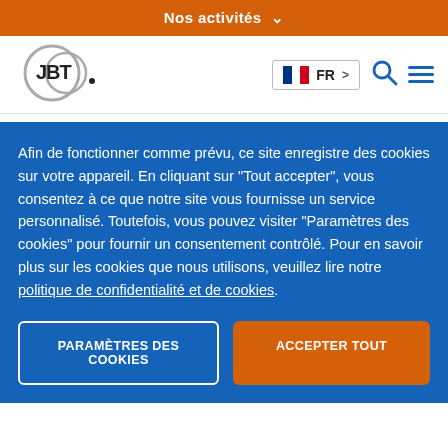Nos activités ⌄
[Figure (logo): JBT company logo — two overlapping circles with letters JBT]
🇫🇷 FR >
/ Produits et solutions / Produits / Sertisseurs et fermeurs de boîtes de conserve
Afin de fonctionner comme prévu, ce site enregistre des cookies sur votre appareil. En cliquant sur "Tout accepter", vous consentez à ce que notre site vous fournisse un service personnalisé. Toutefois, vous pouvez visiter "Paramètres des cookies" pour fournir un consentement contrôlé. Pour en savoir plus sur les cookies que nous utilisons, veuillez lire notre politique de confidentialité et de cookies.
PARAMÈTRES DES COOKIES
ACCEPTER TOUT